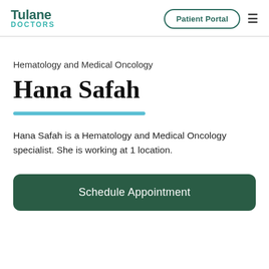Tulane DOCTORS | Patient Portal
Hematology and Medical Oncology
Hana Safah
Hana Safah is a Hematology and Medical Oncology specialist. She is working at 1 location.
Schedule Appointment